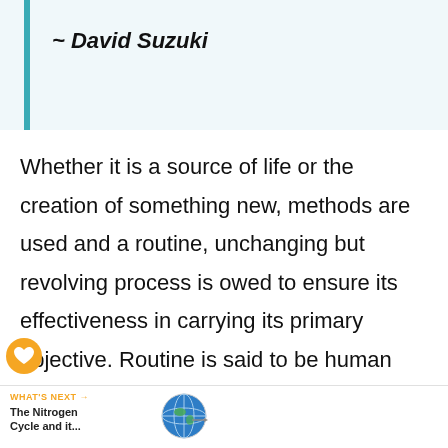~ David Suzuki
Whether it is a source of life or the creation of something new, methods are used and a routine, unchanging but revolving process is owed to ensure its effectiveness in carrying its primary objective. Routine is said to be human nature. Nature relies on routine in order to survive. The carbon cycle
WHAT'S NEXT → The Nitrogen Cycle and it...